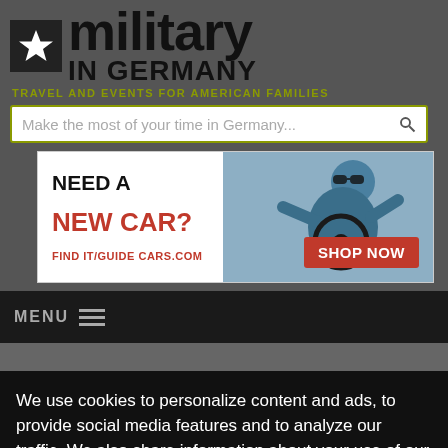[Figure (logo): Military in Germany website logo with star icon, bold 'military IN GERMANY' text, and olive green tagline 'TRAVEL AND EVENTS FOR AMERICAN FAMILIES']
Make the most of your time in Germany...
[Figure (screenshot): Advertisement banner: 'NEED A NEW CAR? FINDITGUIDECARS.COM' on left, man holding steering wheel on right with 'SHOP NOW' red button]
MENU
We use cookies to personalize content and ads, to provide social media features and to analyze our traffic. We also share information about your use of our site with our social media,